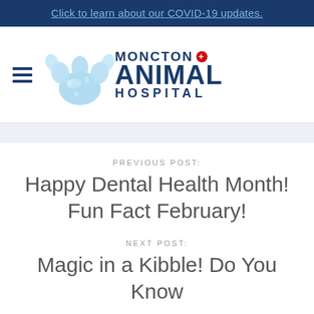Click to learn about our COVID-19 updates.
[Figure (logo): Moncton Animal Hospital logo with blue paw print and text reading MONCTON + ANIMAL HOSPITAL]
PREVIOUS POST:
Happy Dental Health Month! Fun Fact February!
NEXT POST:
Magic in a Kibble! Do You Know